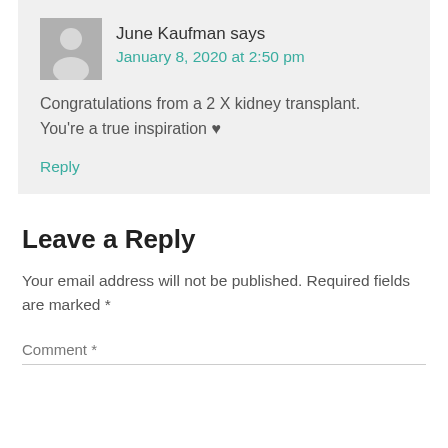June Kaufman says
January 8, 2020 at 2:50 pm
Congratulations from a 2 X kidney transplant. You’re a true inspiration ♥
Reply
Leave a Reply
Your email address will not be published. Required fields are marked *
Comment *